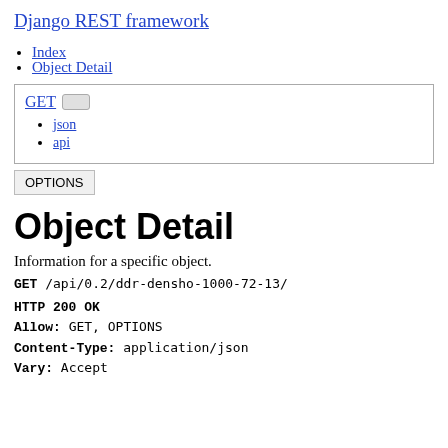Django REST framework
Index
Object Detail
GET  [button]
json
api
OPTIONS
Object Detail
Information for a specific object.
GET /api/0.2/ddr-densho-1000-72-13/
HTTP 200 OK
Allow: GET, OPTIONS
Content-Type: application/json
Vary: Accept